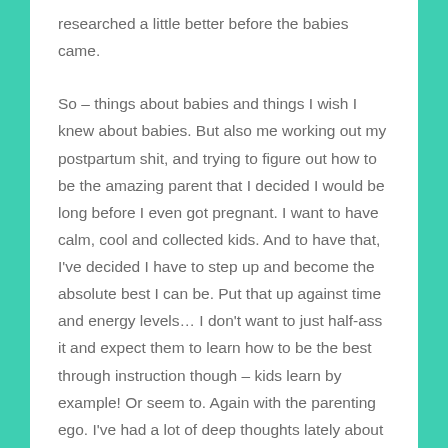researched a little better before the babies came.
So – things about babies and things I wish I knew about babies. But also me working out my postpartum shit, and trying to figure out how to be the amazing parent that I decided I would be long before I even got pregnant. I want to have calm, cool and collected kids. And to have that, I've decided I have to step up and become the absolute best I can be. Put that up against time and energy levels… I don't want to just half-ass it and expect them to learn how to be the best through instruction though – kids learn by example! Or seem to. Again with the parenting ego. I've had a lot of deep thoughts lately about parenting and how I want to do it. I'm learning a lot about how my ideas stack up against their individual personalities. My kids have 23...